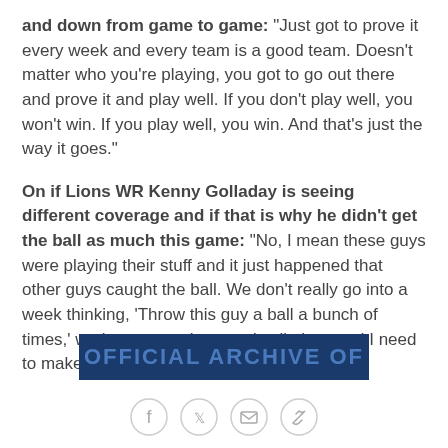and down from game to game: "Just got to prove it every week and every team is a good team. Doesn't matter who you're playing, you got to go out there and prove it and play well. If you don't play well, you won't win. If you play well, you win. And that's just the way it goes."
On if Lions WR Kenny Golladay is seeing different coverage and if that is why he didn't get the ball as much this game: "No, I mean these guys were playing their stuff and it just happened that other guys caught the ball. We don't really go into a week thinking, 'Throw this guy a ball a bunch of times,' we just go out there and call plays and I need to make sure I get it to the right guy."
[Figure (other): Dark navy blue banner with partially visible bold text, social sharing icons (Facebook, Twitter, email, link) below]